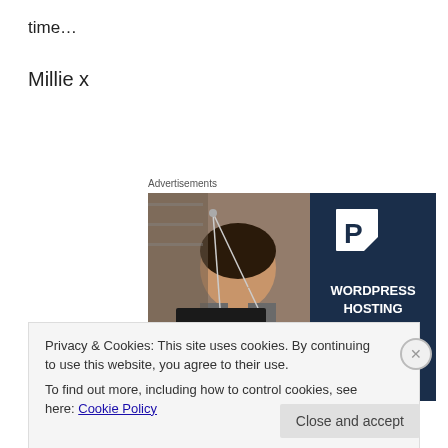time…
Millie x
Advertisements
[Figure (photo): WordPress hosting advertisement: left side shows a woman smiling and holding an OPEN sign, right side is dark navy with a P logo and text 'WORDPRESS HOSTING THAT MEANS BUSINESS.']
Privacy & Cookies: This site uses cookies. By continuing to use this website, you agree to their use.
To find out more, including how to control cookies, see here: Cookie Policy
Close and accept